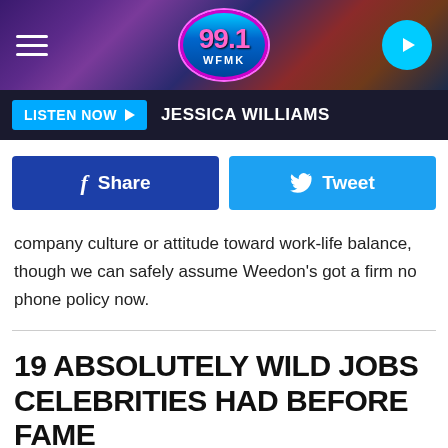[Figure (screenshot): 99.1 WFMK radio station header with logo, hamburger menu, and play button on dark gradient background]
LISTEN NOW ▶  JESSICA WILLIAMS
[Figure (screenshot): Facebook Share and Twitter Tweet social sharing buttons]
company culture or attitude toward work-life balance, though we can safely assume Weedon's got a firm no phone policy now.
19 ABSOLUTELY WILD JOBS CELEBRITIES HAD BEFORE FAME
[Figure (photo): Photo of a woman with long dark hair at what appears to be a public event with green banners in background]